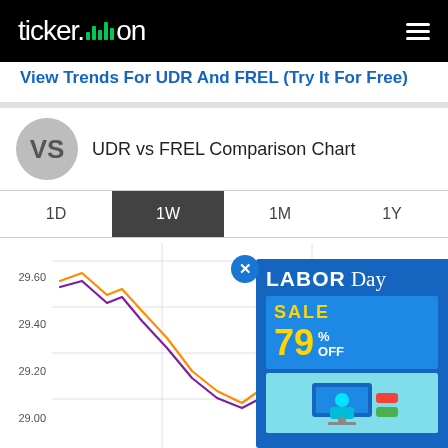ticker.on
View Trends For UDR And FREL (Try It For Free)
UDR vs FREL Comparison Chart
[Figure (line-chart): Line chart showing UDR vs FREL price comparison over 1 week. Y-axis shows values 29.00, 29.20, 29.40, 29.60. Two lines: orange (UDR) and purple (FREL), both starting near 29.35, declining to ~29.00 then rising with a spike near 29.25. Partially obscured by a Labor Day Sale 79% OFF advertisement overlay.]